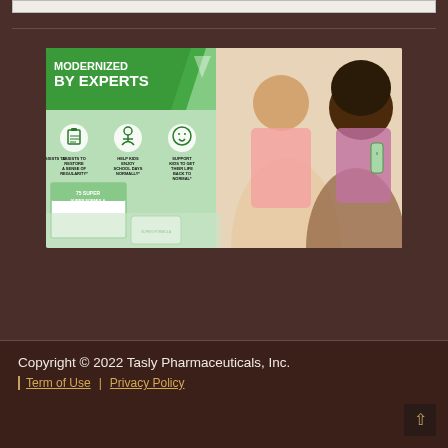[Figure (photo): Product advertisement image for a children's supplement. Green banner at top-left reads 'MODERNIZED BY EXPERTS' with a triangle graphic. Three circular icons below with text: 'ASSISTS TO RESTORE A SENSE OF REGULARITY*', 'HELP KIDS ENJOY SCHOOL DAYS NORMALLY*', 'SUPPORT KIDS TO GET THEIR LIFE BACK TO NORMAL*'. Right side shows two smiling girls, one holding a product. Bottom shows product boxes labeled '75 SUPER FORMULA'.]
Copyright © 2022 Tasly Pharmaceuticals, Inc. | Term of Use | Privacy Policy